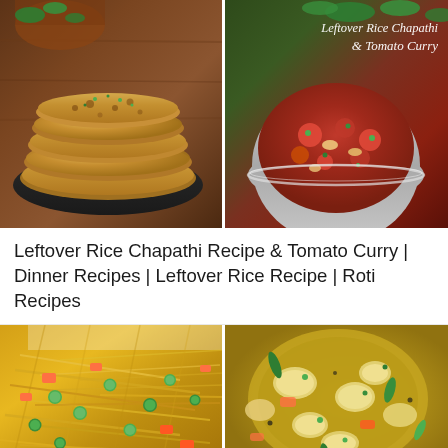[Figure (photo): Two food photos side by side: left shows a stack of chapathi/roti flatbreads on a dark plate with green herbs, right shows a tomato curry in a steel bowl with text overlay 'Leftover Rice Chapathi & Tomato Curry']
Leftover Rice Chapathi Recipe & Tomato Curry | Dinner Recipes | Leftover Rice Recipe | Roti Recipes
[Figure (photo): Two food photos side by side: left shows yellow vermicelli/semiya upma with green peas and carrot, right shows a yellow curry/korma dish with vegetables in a bowl]